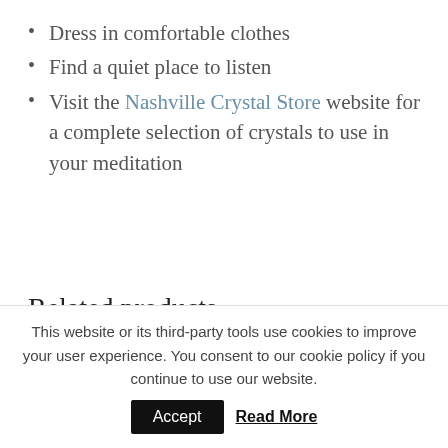Dress in comfortable clothes
Find a quiet place to listen
Visit the Nashville Crystal Store website for a complete selection of crystals to use in your meditation
Related products
[Figure (photo): Two product images side by side: left shows a colorful globe/earth bubble with rainbow hues on green background; right shows green moss heart shapes on dark rocky surface]
This website or its third-party tools use cookies to improve your user experience. You consent to our cookie policy if you continue to use our website.